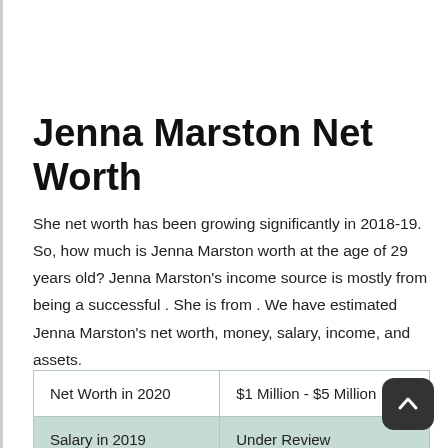Jenna Marston Net Worth
She net worth has been growing significantly in 2018-19. So, how much is Jenna Marston worth at the age of 29 years old? Jenna Marston's income source is mostly from being a successful . She is from . We have estimated Jenna Marston's net worth, money, salary, income, and assets.
| Net Worth in 2020 | $1 Million - $5 Million |
| Salary in 2019 | Under Review |